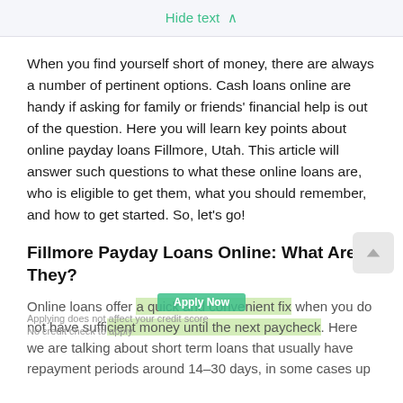Hide text ∧
When you find yourself short of money, there are always a number of pertinent options. Cash loans online are handy if asking for family or friends' financial help is out of the question. Here you will learn key points about online payday loans Fillmore, Utah. This article will answer such questions to what these online loans are, who is eligible to get them, what you should remember, and how to get started. So, let's go!
Fillmore Payday Loans Online: What Are They?
Online loans offer a quick and convenient fix when you do not have sufficient money until the next paycheck. Here we are talking about short term loans that usually have repayment periods around 14–30 days, in some cases up